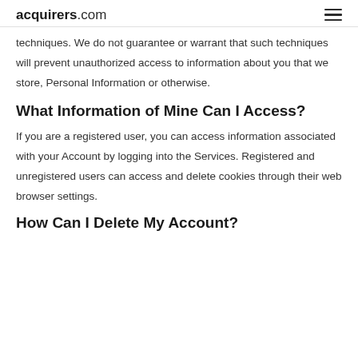acquirers.com
techniques. We do not guarantee or warrant that such techniques will prevent unauthorized access to information about you that we store, Personal Information or otherwise.
What Information of Mine Can I Access?
If you are a registered user, you can access information associated with your Account by logging into the Services. Registered and unregistered users can access and delete cookies through their web browser settings.
How Can I Delete My Account?